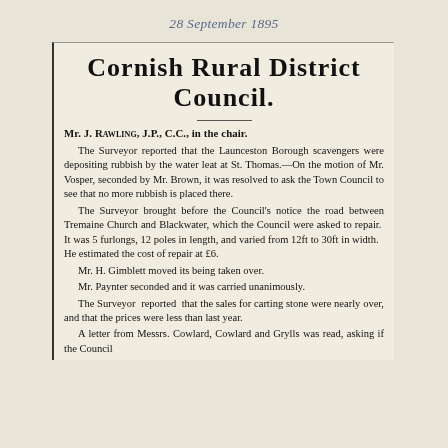28 September 1895
Cornish Rural District Council.
Mr. J. Rawling, J.P., C.C., in the chair.
The Surveyor reported that the Launceston Borough scavengers were depositing rubbish by the water leat at St. Thomas.—On the motion of Mr. Vosper, seconded by Mr. Brown, it was resolved to ask the Town Council to see that no more rubbish is placed there.
The Surveyor brought before the Council's notice the road between Tremaine Church and Blackwater, which the Council were asked to repair. It was 5 furlongs, 12 poles in length, and varied from 12ft to 30ft in width. He estimated the cost of repair at £6.
Mr. H. Gimblett moved its being taken over.
Mr. Paynter seconded and it was carried unanimously.
The Surveyor reported that the sales for carting stone were nearly over, and that the prices were less than last year.
A letter from Messrs. Cowlard, Cowlard and Grylls was read, asking if the Council